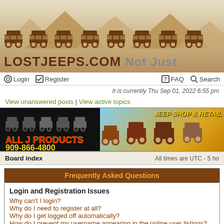[Figure (illustration): LostJeeps.com website header banner with jeep silhouettes on mountain background and site title 'LOSTJEEPS.COM Not Just...']
Login | Register | FAQ | Search
It is currently Thu Sep 01, 2022 6:55 pm
View unanswered posts | View active topics
[Figure (illustration): All J Products advertisement banner: jeep shop & retail, phone 909-866-4800]
Board index   All times are UTC - 5 ho...
Frequently Asked Questions
Login and Registration Issues
Why can't I login?
Why do I need to register at all?
Why do I get logged off automatically?
How do I prevent my username appearing in the online user listings?
I've lost my password!